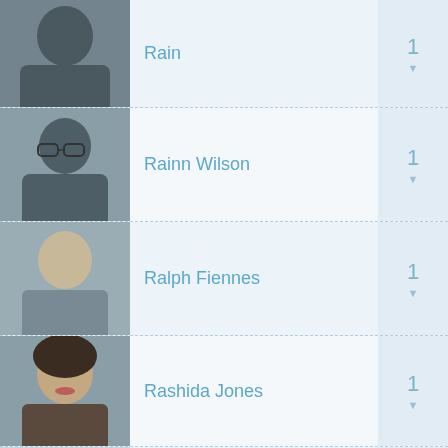Rain — 1
Rainn Wilson — 1
Ralph Fiennes — 1
Rashida Jones — 1
Ray Aranha — 1
Ray Baker — 1
Raymond J. Barry — 1
Reece Ritchie — 1